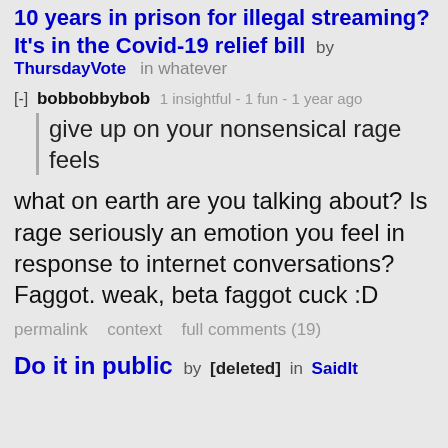10 years in prison for illegal streaming? It's in the Covid-19 relief bill by ThursdayVote in whatever
[-] bobbobbybob 1 insightful - 1 fun - 1 year ago
give up on your nonsensical rage feels
what on earth are you talking about? Is rage seriously an emotion you feel in response to internet conversations? Faggot. weak, beta faggot cuck :D
permalink context full comments (19)
Do it in public by [deleted] in SaidIt